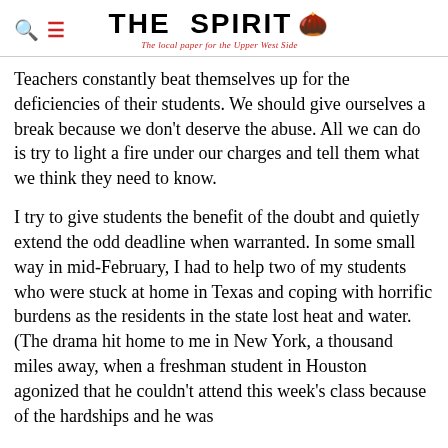THE SPIRIT — The local paper for the Upper West Side
Teachers constantly beat themselves up for the deficiencies of their students. We should give ourselves a break because we don't deserve the abuse. All we can do is try to light a fire under our charges and tell them what we think they need to know.
I try to give students the benefit of the doubt and quietly extend the odd deadline when warranted. In some small way in mid-February, I had to help two of my students who were stuck at home in Texas and coping with horrific burdens as the residents in the state lost heat and water. (The drama hit home to me in New York, a thousand miles away, when a freshman student in Houston agonized that he couldn't attend this week's class because of the hardships and he was